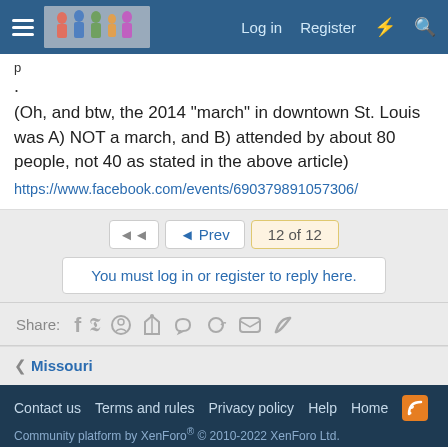Log in  Register
.
(Oh, and btw, the 2014 "march" in downtown St. Louis was A) NOT a march, and B) attended by about 80 people, not 40 as stated in the above article)
https://www.facebook.com/events/690379891057306/
◄◄  ◄ Prev  12 of 12
You must log in or register to reply here.
Share:
< Missouri
Contact us  Terms and rules  Privacy policy  Help  Home
Community platform by XenForo® © 2010-2022 XenForo Ltd.